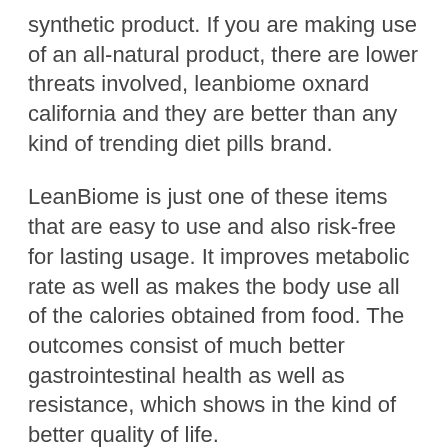synthetic product. If you are making use of an all-natural product, there are lower threats involved, leanbiome oxnard california and they are better than any kind of trending diet pills brand.
LeanBiome is just one of these items that are easy to use and also risk-free for lasting usage. It improves metabolic rate as well as makes the body use all of the calories obtained from food. The outcomes consist of much better gastrointestinal health as well as resistance, which shows in the kind of better quality of life.
ON THE INTERNET PROMOTION: Click Here to Acquisition LeanBiome at the most affordable Rate Today